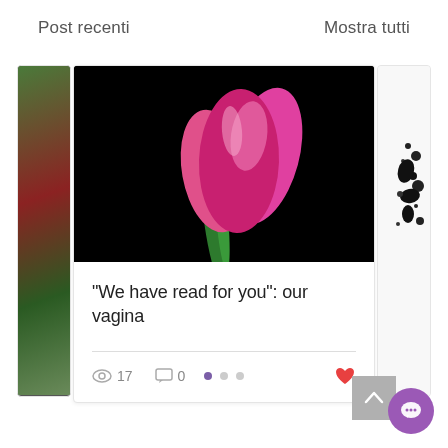Post recenti
Mostra tutti
[Figure (photo): Pink tulip flower against a black background, center card image]
"We have read for you": our vagina
17 views, 0 comments, heart icon